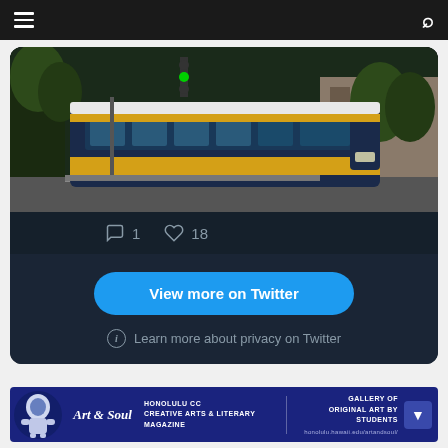Navigation bar with menu and search icons
[Figure (screenshot): Twitter embed showing a city bus (route 2) on a street with trees and buildings. Black background with bus photo. Below photo: 1 comment, 18 likes. 'View more on Twitter' blue button. 'Learn more about privacy on Twitter' link.]
[Figure (photo): Honolulu CC Art & Soul creative arts and literary magazine advertisement banner with astronaut illustration, logo, and text: HONOLULU CC CREATIVE ARTS & LITERARY MAGAZINE | GALLERY OF ORIGINAL ART BY STUDENTS honolulu.hawaii.edu/artandsoul/]